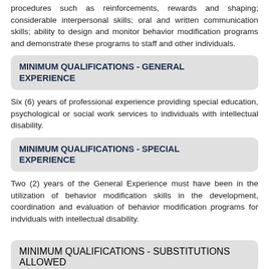procedures such as reinforcements, rewards and shaping; considerable interpersonal skills; oral and written communication skills; ability to design and monitor behavior modification programs and demonstrate these programs to staff and other individuals.
MINIMUM QUALIFICATIONS - GENERAL EXPERIENCE
Six (6) years of professional experience providing special education, psychological or social work services to individuals with intellectual disability.
MINIMUM QUALIFICATIONS - SPECIAL EXPERIENCE
Two (2) years of the General Experience must have been in the utilization of behavior modification skills in the development, coordination and evaluation of behavior modification programs for indviduals with intellectual disability.
MINIMUM QUALIFICATIONS - SUBSTITUTIONS ALLOWED